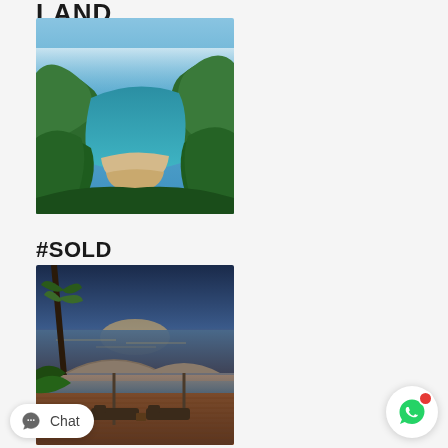LAND
[Figure (photo): Aerial view of a tropical beach cove with lush green hills and turquoise water]
#SOLD
[Figure (photo): Sunset view of a luxury pool/terrace with beach umbrellas and lounge chairs, orange sky and ocean in background]